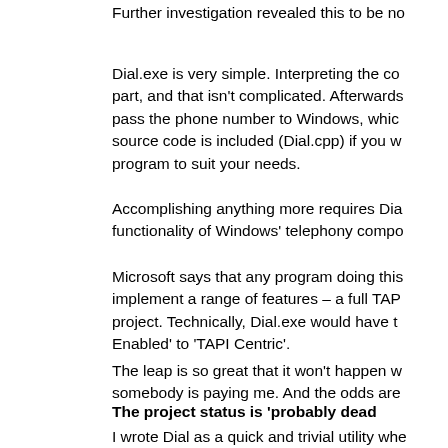Further investigation revealed this to be no
Dial.exe is very simple. Interpreting the co part, and that isn't complicated. Afterwards pass the phone number to Windows, which source code is included (Dial.cpp) if you w program to suit your needs.
Accomplishing anything more requires Dia functionality of Windows' telephony compo
Microsoft says that any program doing this implement a range of features – a full TAP project. Technically, Dial.exe would have t Enabled' to 'TAPI Centric'.
The leap is so great that it won't happen w somebody is paying me. And the odds are
The project status is 'probably dead
I wrote Dial as a quick and trivial utility whe in 2004 and have not owned a modem for